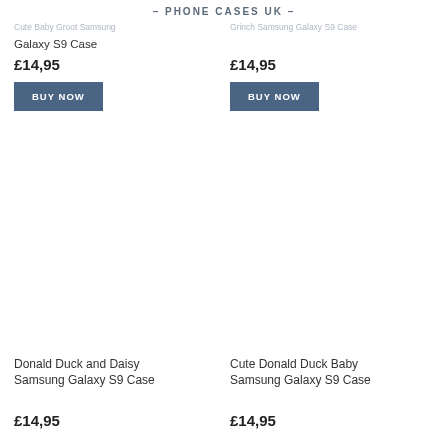PHONE CASES UK
Cute Baby Groot Samsung Galaxy S9 Case
Grinch Samsung Galaxy S9 Case
£14,95
£14,95
BUY NOW
BUY NOW
[Figure (other): Empty product image area for Donald Duck and Daisy Samsung Galaxy S9 Case]
[Figure (other): Empty product image area for Cute Donald Duck Baby Samsung Galaxy S9 Case]
Donald Duck and Daisy Samsung Galaxy S9 Case
Cute Donald Duck Baby Samsung Galaxy S9 Case
£14,95
£14,95